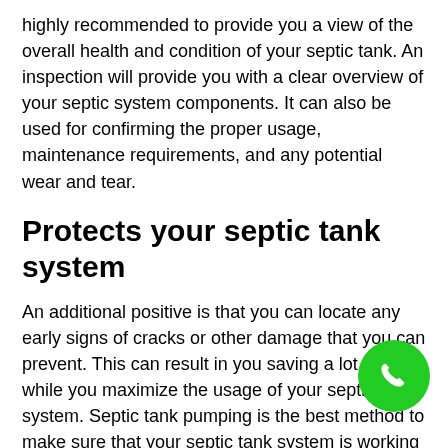highly recommended to provide you a view of the overall health and condition of your septic tank. An inspection will provide you with a clear overview of your septic system components. It can also be used for confirming the proper usage, maintenance requirements, and any potential wear and tear.
Protects your septic tank system
An additional positive is that you can locate any early signs of cracks or other damage that you can prevent. This can result in you saving a lot more while you maximize the usage of your septic tank system. Septic tank pumping is the best method to make sure that your septic tank system is working properly.
Improves the overall effectiveness of the septic system
This will not only make your septic system last longer, but it
[Figure (other): Green circular phone/call button icon in the bottom right corner]